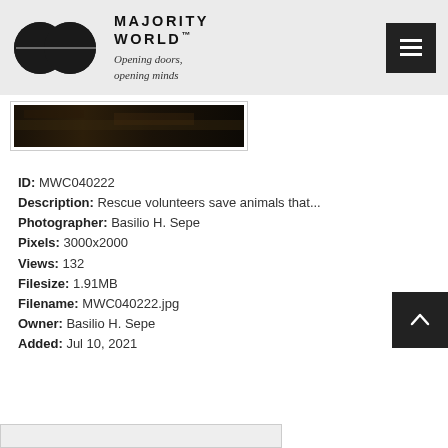[Figure (logo): Majority World logo with two overlapping circles and text 'MAJORITY WORLD™ Opening doors, opening minds']
[Figure (photo): Small thumbnail of a dark landscape/animal rescue scene]
ID: MWC040222
Description: Rescue volunteers save animals that...
Photographer: Basilio H. Sepe
Pixels: 3000x2000
Views: 132
Filesize: 1.91MB
Filename: MWC040222.jpg
Owner: Basilio H. Sepe
Added: Jul 10, 2021